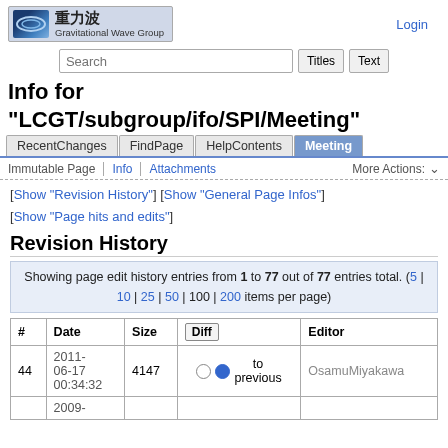[Figure (logo): Gravitational Wave Group logo with Japanese characters 重力波 and blue wave ellipse graphic]
Login
Info for "LCGT/subgroup/ifo/SPI/Meeting"
RecentChanges | FindPage | HelpContents | Meeting
Immutable Page | Info | Attachments | More Actions:
[Show "Revision History"] [Show "General Page Infos"] [Show "Page hits and edits"]
Revision History
Showing page edit history entries from 1 to 77 out of 77 entries total. (5 | 10 | 25 | 50 | 100 | 200 items per page)
| # | Date | Size | Diff | Editor |
| --- | --- | --- | --- | --- |
| 44 | 2011-06-17 00:34:32 | 4147 | ○ ● to previous | OsamuMiyakawa |
|  | 2009-... |  |  |  |